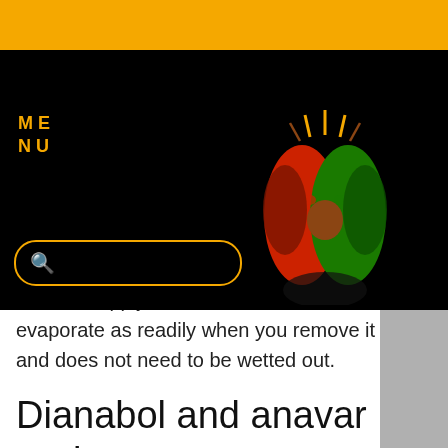[Figure (screenshot): Website navigation bar with black background, orange top band, lion logo (red and green), MENU text in gold, shopping cart icon with badge showing 0, and a search bar with gold border]
easier to apply because it does not evaporate as readily when you remove it and does not need to be wetted out.
Dianabol and anavar cycle
Some even more knowledgeable steroid users, will make use of Dianabol as a kick start to a 12 week testosterone cycle for the first 4 weeks, and add Anavar in the final 6 weeks to help keep leanmass and fat out. (1) A couple of people are on Nolvadex 5x7 to get more testosterone, because they can't get more from other means. You can use